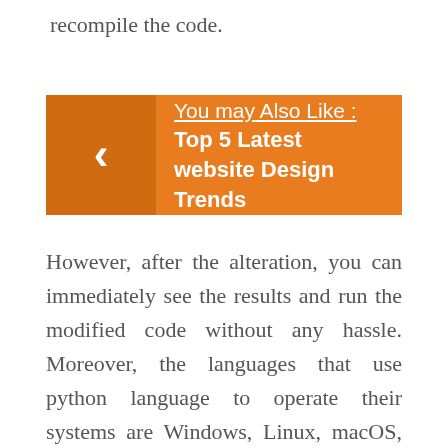recompile the code.
You may Also Like :  Top 5 Latest website Design Trends
However, after the alteration, you can immediately see the results and run the modified code without any hassle. Moreover, the languages that use python language to operate their systems are Windows, Linux, macOS, and many more. You can also outsource a team of professionals from the top compatibility testing companies to ensure Python's